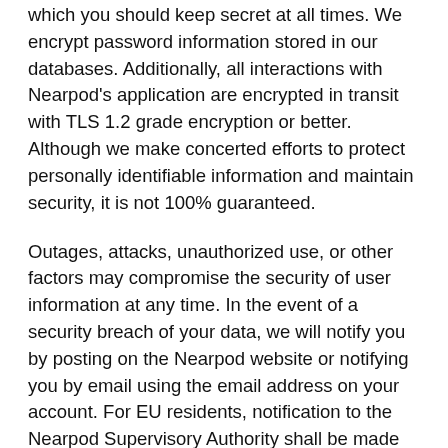which you should keep secret at all times. We encrypt password information stored in our databases. Additionally, all interactions with Nearpod's application are encrypted in transit with TLS 1.2 grade encryption or better. Although we make concerted efforts to protect personally identifiable information and maintain security, it is not 100% guaranteed.
Outages, attacks, unauthorized use, or other factors may compromise the security of user information at any time. In the event of a security breach of your data, we will notify you by posting on the Nearpod website or notifying you by email using the email address on your account. For EU residents, notification to the Nearpod Supervisory Authority shall be made within 72 hours of Nearpod becoming aware of such breach.
Data Ownership
The Nearpod account owner is the owner of any data, including student content, submitted through the